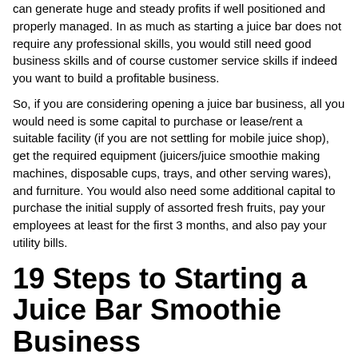can generate huge and steady profits if well positioned and properly managed. In as much as starting a juice bar does not require any professional skills, you would still need good business skills and of course customer service skills if indeed you want to build a profitable business.
So, if you are considering opening a juice bar business, all you would need is some capital to purchase or lease/rent a suitable facility (if you are not settling for mobile juice shop), get the required equipment (juicers/juice smoothie making machines, disposable cups, trays, and other serving wares), and furniture. You would also need some additional capital to purchase the initial supply of assorted fresh fruits, pay your employees at least for the first 3 months, and also pay your utility bills.
19 Steps to Starting a Juice Bar Smoothie Business
| Table of Content [show] |